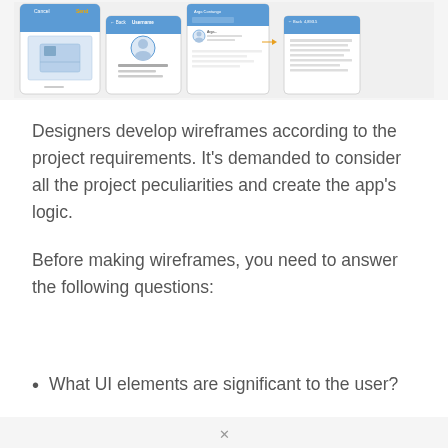[Figure (screenshot): Wireframe screenshots of a mobile app showing profile screens with blue UI elements, user avatars, and contact/link information screens arranged side by side]
Designers develop wireframes according to the project requirements. It's demanded to consider all the project peculiarities and create the app's logic.
Before making wireframes, you need to answer the following questions:
What UI elements are significant to the user?